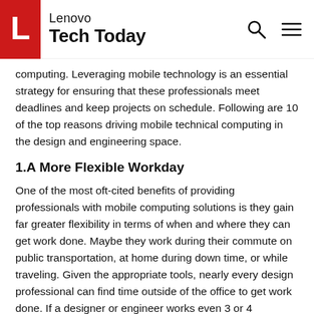Lenovo Tech Today
computing. Leveraging mobile technology is an essential strategy for ensuring that these professionals meet deadlines and keep projects on schedule. Following are 10 of the top reasons driving mobile technical computing in the design and engineering space.
1.A More Flexible Workday
One of the most oft-cited benefits of providing professionals with mobile computing solutions is they gain far greater flexibility in terms of when and where they can get work done. Maybe they work during their commute on public transportation, at home during down time, or while traveling. Given the appropriate tools, nearly every design professional can find time outside of the office to get work done. If a designer or engineer works even 3 or 4 additional hours per week, it will more than justify the expense of mobile hardware and solutions